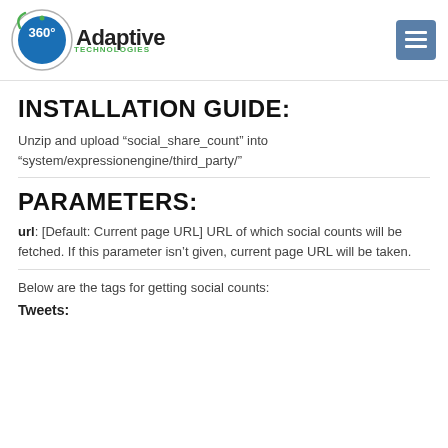360 Adaptive Technologies logo and menu button
INSTALLATION GUIDE:
Unzip and upload “social_share_count” into “system/expressionengine/third_party/”
PARAMETERS:
url: [Default: Current page URL] URL of which social counts will be fetched. If this parameter isn't given, current page URL will be taken.
Below are the tags for getting social counts:
Tweets: